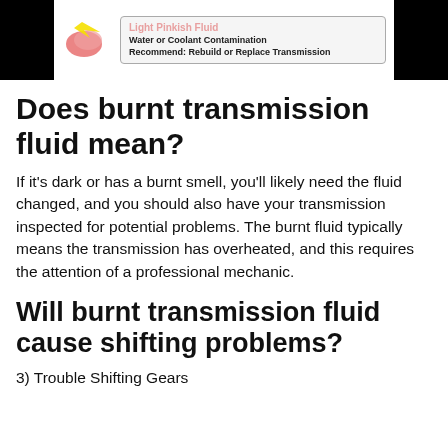[Figure (screenshot): Top banner image showing a light pinkish fluid indicator with tooltip: 'Light Pinkish Fluid', 'Water or Coolant Contamination', 'Recommend: Rebuild or Replace Transmission']
Does burnt transmission fluid mean?
If it's dark or has a burnt smell, you'll likely need the fluid changed, and you should also have your transmission inspected for potential problems. The burnt fluid typically means the transmission has overheated, and this requires the attention of a professional mechanic.
Will burnt transmission fluid cause shifting problems?
3) Trouble Shifting Gears